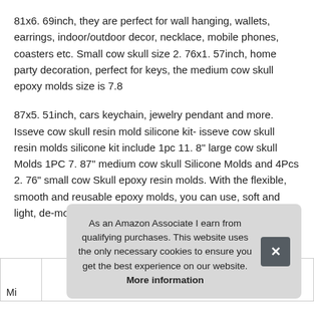81x6. 69inch, they are perfect for wall hanging, wallets, earrings, indoor/outdoor decor, necklace, mobile phones, coasters etc. Small cow skull size 2. 76x1. 57inch, home party decoration, perfect for keys, the medium cow skull epoxy molds size is 7.8
87x5. 51inch, cars keychain, jewelry pendant and more. Isseve cow skull resin mold silicone kit- isseve cow skull resin molds silicone kit include 1pc 11. 8" large cow skull Molds 1PC 7. 87" medium cow skull Silicone Molds and 4Pcs 2. 76" small cow Skull epoxy resin molds. With the flexible, smooth and reusable epoxy molds, you can use, soft and light, de-mold and clean them easily.
As an Amazon Associate I earn from qualifying purchases. This website uses the only necessary cookies to ensure you get the best experience on our website. More information